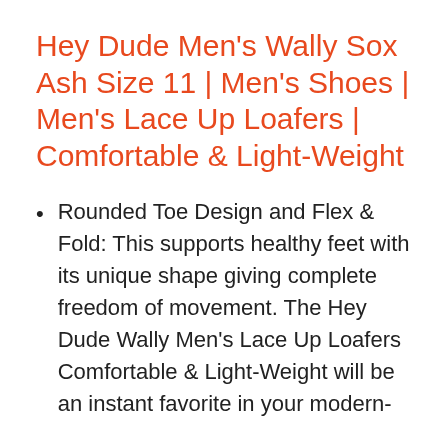Hey Dude Men's Wally Sox Ash Size 11 | Men's Shoes | Men's Lace Up Loafers | Comfortable & Light-Weight
Rounded Toe Design and Flex & Fold: This supports healthy feet with its unique shape giving complete freedom of movement. The Hey Dude Wally Men's Lace Up Loafers Comfortable & Light-Weight will be an instant favorite in your modern-